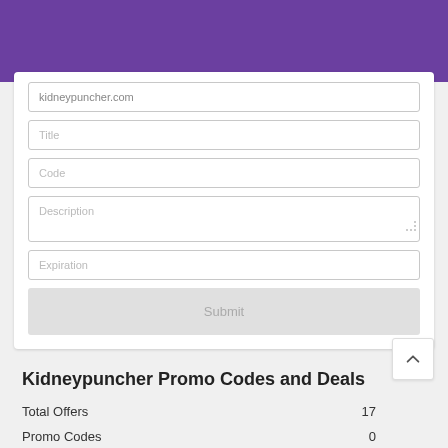[Figure (screenshot): Purple header banner at top of page]
kidneypuncher.com
Title
Code
Description
Expiration
Submit
Kidneypuncher Promo Codes and Deals
Total Offers  17
Promo Codes  0
Offers  17